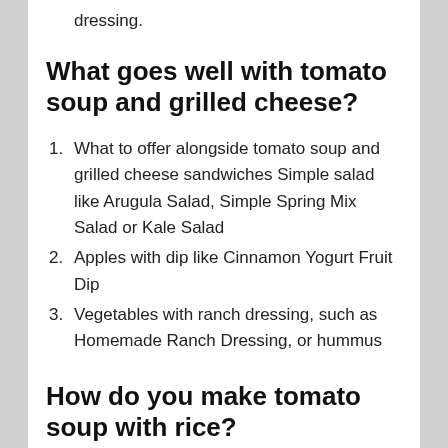dressing.
What goes well with tomato soup and grilled cheese?
What to offer alongside tomato soup and grilled cheese sandwiches Simple salad like Arugula Salad, Simple Spring Mix Salad or Kale Salad
Apples with dip like Cinnamon Yogurt Fruit Dip
Vegetables with ranch dressing, such as Homemade Ranch Dressing, or hummus
How do you make tomato soup with rice?